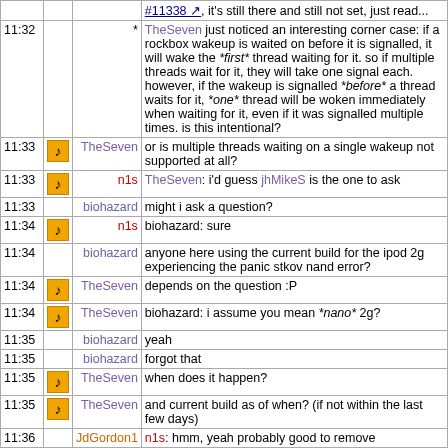| Time | Icon | Nick | Message |
| --- | --- | --- | --- |
|  |  | * | TheSeven just noticed an interesting corner case: if a rockbox wakeup is waited on before it is signalled, it will wake the *first* thread waiting for it. so if multiple threads wait for it, they will take one signal each. however, if the wakeup is signalled *before* a thread waits for it, *one* thread will be woken immediately when waiting for it, even if it was signalled multiple times. is this intentional? |
| 11:33 | icon | TheSeven | or is multiple threads waiting on a single wakeup not supported at all? |
| 11:33 | icon | n1s | TheSeven: i'd guess jhMikeS is the one to ask |
| 11:33 |  | biohazard | might i ask a question? |
| 11:34 | icon | n1s | biohazard: sure |
| 11:34 |  | biohazard | anyone here using the current build for the ipod 2g experiencing the panic stkov nand error? |
| 11:34 | icon | TheSeven | depends on the question :P |
| 11:34 | icon | TheSeven | biohazard: i assume you mean *nano* 2g? |
| 11:35 |  | biohazard | yeah |
| 11:35 |  | biohazard | forgot that |
| 11:35 | icon | TheSeven | when does it happen? |
| 11:35 | icon | TheSeven | and current build as of when? (if not within the last few days) |
| 11:36 |  | JdGordon1 | n1s: hmm, yeah probably good to remove |
| 11:36 |  | JdGordon1 | bertrik: I was pinged a few days ago about release? |
| 11:37 | icon | n1s | JdGordon1: i'm not sure what it was/is intended to do so i didn't want to just remove it but you think that is fine? |
| 11:37 |  | JdGordon1 | it looks like its in really old code |